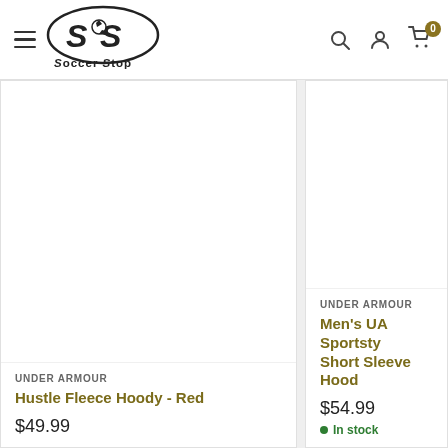[Figure (logo): Soccer Stop logo with SS initials and soccer ball graphic]
[Figure (photo): Product image area for Under Armour Hustle Fleece Hoody - Red (white/blank)]
UNDER ARMOUR
Hustle Fleece Hoody - Red
$49.99
[Figure (photo): Product image area for Under Armour Men's UA Sportstyle Short Sleeve Hood (white/blank)]
UNDER ARMOUR
Men's UA Sportstyle Short Sleeve Hood
$54.99
In stock